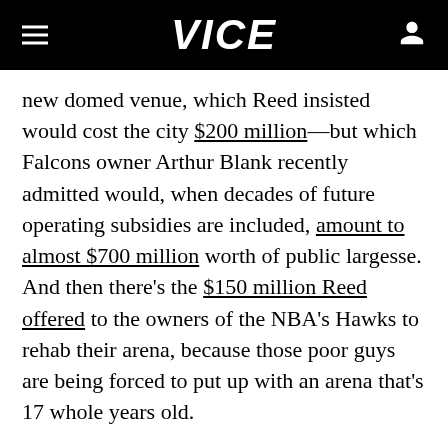VICE
new domed venue, which Reed insisted would cost the city $200 million—but which Falcons owner Arthur Blank recently admitted would, when decades of future operating subsidies are included, amount to almost $700 million worth of public largesse. And then there's the $150 million Reed offered to the owners of the NBA's Hawks to rehab their arena, because those poor guys are being forced to put up with an arena that's 17 whole years old.
Taken together, that's a triple threat that could push Atlanta out in front of such legendary